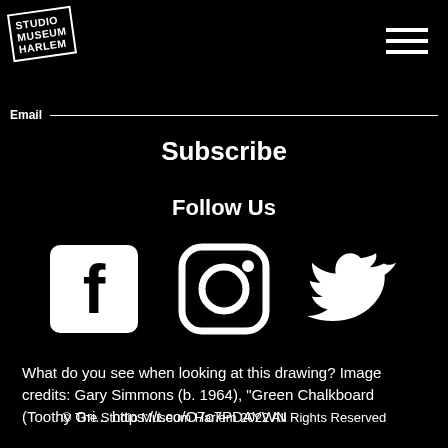[Figure (logo): Studio Museum Harlem logo in white rotated text on black background]
[Figure (other): Hamburger menu icon (three horizontal white lines)]
Email
Subscribe
Follow Us
[Figure (other): Social media icons: Facebook, Instagram, Twitter (white on black)]
What do you see when looking at this drawing? Image credits: Gary Simmons (b. 1964), "Green Chalkboard (Toothy Gri... https://t.co/O7o7PDAYWN
© The Studio Museum Harlem 2022 All Rights Reserved